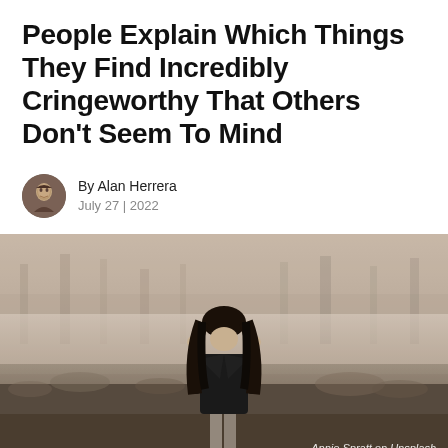People Explain Which Things They Find Incredibly Cringeworthy That Others Don't Seem To Mind
By Alan Herrera
July 27 | 2022
[Figure (photo): A woman with long dark hair standing alone in a misty foggy field, covering her face with her hands, wearing a dark jacket, moody atmospheric scene]
Annie Spratt on Unsplash